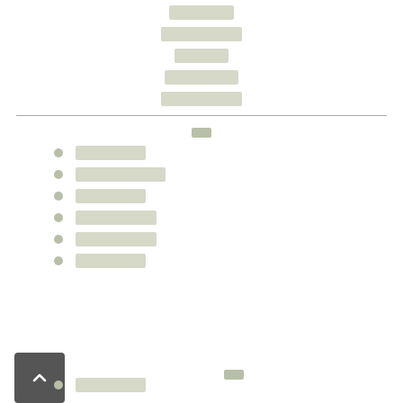[redacted line 1]
[redacted line 2]
[redacted line 3]
[redacted line 4]
[redacted line 5]
[redacted 2-char heading]
[redacted item 1]
[redacted item 2]
[redacted item 3]
[redacted item 4]
[redacted item 5]
[redacted item 6]
[redacted 2-char heading]
[redacted item 7]